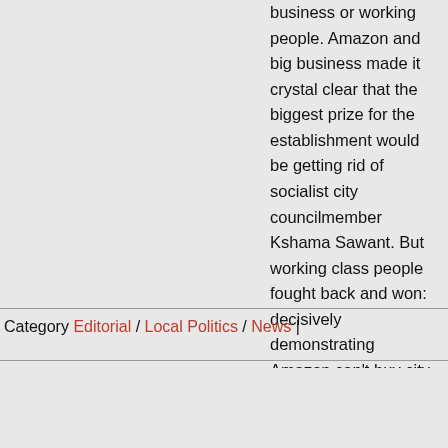business or working people. Amazon and big business made it crystal clear that the biggest prize for the establishment would be getting rid of socialist city councilmember Kshama Sawant. But working class people fought back and won: decisively demonstrating Amazon can't buy city hall.
Category Editorial / Local Politics / News |
August 18, 2021
by SeattleDSA Seattle DSA stands in solidarity with Palestiniust